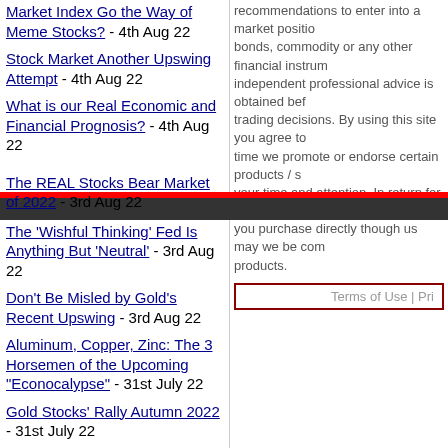Market Index Go the Way of Meme Stocks? - 4th Aug 22
Stock Market Another Upswing Attempt - 4th Aug 22
What is our Real Economic and Financial Prognosis? - 4th Aug 22
recommendations to enter into a market position bonds, commodity or any other financial instrum independent professional advice is obtained bef trading decisions. By using this site you agree to time we promote or endorse certain products / s your time and attention. In return for that endors you purchase directly though us may we be com products.
Terms of Use | Pri
The REAL Stocks Bear Market of 2022 - 3rd Aug 22
The 'Wishful Thinking' Fed Is Anything But 'Neutral' - 3rd Aug 22
Don't Be Misled by Gold's Recent Upswing - 3rd Aug 22
Aluminum, Copper, Zinc: The 3 Horsemen of the Upcoming "Econocalypse" - 31st July 22
Gold Stocks' Rally Autumn 2022 - 31st July 22
US Fed Is Battling Excess Global Capital – Which Is